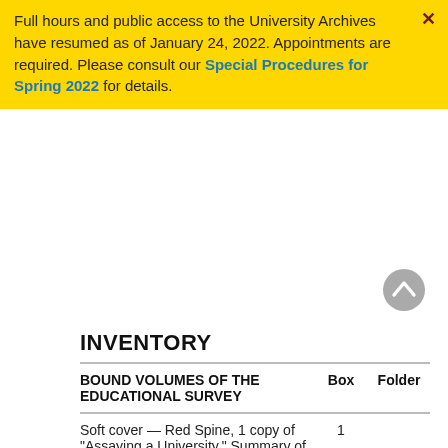Full hours and public access to the University Archives have resumed as of January 24, 2022. Appointments are required. Please consult our Special Procedures for Spring 2022 for details.
This collection has not been fully processed. The following preliminary inventory is available.
INVENTORY
| BOUND VOLUMES OF THE EDUCATIONAL SURVEY | Box | Folder |
| --- | --- | --- |
| Soft cover — Red Spine, 1 copy of "Assaying a University," Summary of Survey Reports, volumes 1-3 | 1 |  |